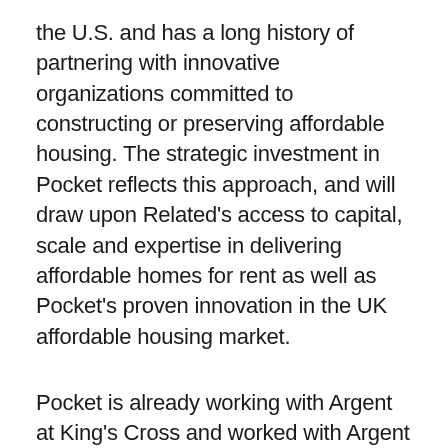the U.S. and has a long history of partnering with innovative organizations committed to constructing or preserving affordable housing. The strategic investment in Pocket reflects this approach, and will draw upon Related's access to capital, scale and expertise in delivering affordable homes for rent as well as Pocket's proven innovation in the UK affordable housing market.
Pocket is already working with Argent at King's Cross and worked with Argent Related on its successful bid to partner the London Borough of Barnet at Brent Cross South. This affiliation offers the ability to provide a full spectrum of housing solutions.